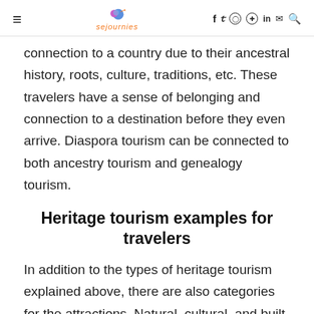≡ sejournies f y ⊙ ⊕ in ✉ 🔍
connection to a country due to their ancestral history, roots, culture, traditions, etc. These travelers have a sense of belonging and connection to a destination before they even arrive. Diaspora tourism can be connected to both ancestry tourism and genealogy tourism.
Heritage tourism examples for travelers
In addition to the types of heritage tourism explained above, there are also categories for the attractions. Natural, cultural, and built are